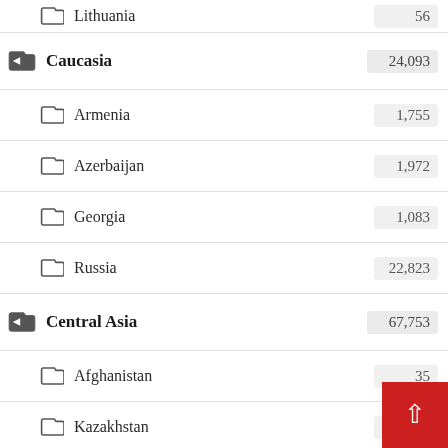Lithuania — 56
Caucasia — 24,093
Armenia — 1,755
Azerbaijan — 1,972
Georgia — 1,083
Russia — 22,823
Central Asia — 67,753
Afghanistan — 35
Kazakhstan — 18,563
Kyrgyzstan — 18,105
Tajikistan — 14,962
Turkmenistan — 20,645
Uzbekistan — 13,425